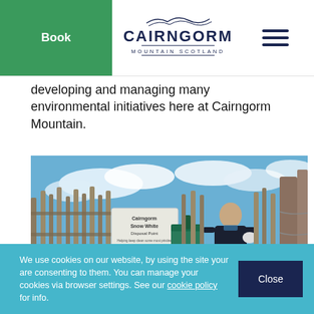Book | Cairngorm Mountain Scotland | [menu]
developing and managing many environmental initiatives here at Cairngorm Mountain.
[Figure (photo): Man standing next to a 'Cairngorm Snow White Disposal Point' sign and green bin, beside a wooden fence, with blue sky background]
We use cookies on our website, by using the site your are consenting to them. You can manage your cookies via browser settings. See our cookie policy for info.